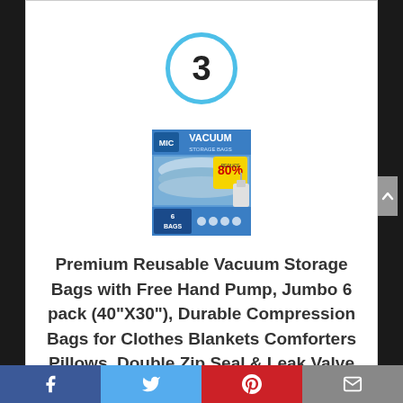[Figure (other): Blue circle with number 3 inside, ranking indicator]
[Figure (photo): Product package image: MIC Vacuum Storage Bags, 6 bags pack, shows compressed blankets/bedding inside clear bags, with 80% reduction label and hand pump]
Premium Reusable Vacuum Storage Bags with Free Hand Pump, Jumbo 6 pack (40"X30"), Durable Compression Bags for Clothes Blankets Comforters Pillows, Double Zip Seal & Leak Valve